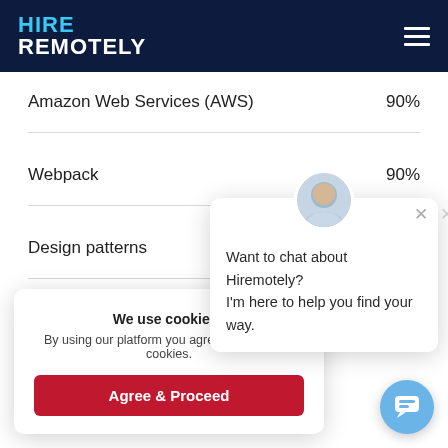HIRE REMOTELY
Amazon Web Services (AWS)  90%
Webpack  90%
Design patterns  90%
We use cookies i
By using our platform you agree to our use of cookies.
Agree & Proceed
Want to chat about Hiremotely? I'm here to help you find your way.